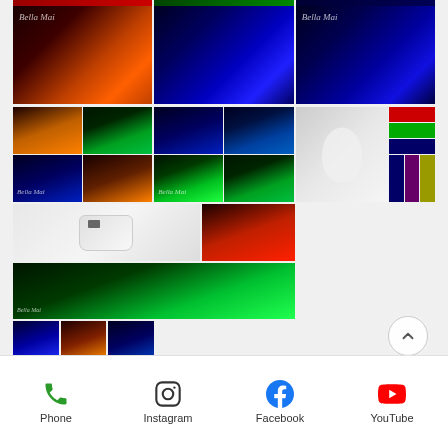[Figure (photo): Gallery of LED light therapy facial treatment images arranged in a grid. Shows faces illuminated with red, blue, green, and other colored LED lights. Multiple composite collage images showing various LED mask devices and treatments. Bella Mai watermark visible on several images. Social media website page for spa/beauty business.]
Phone   Instagram   Facebook   YouTube